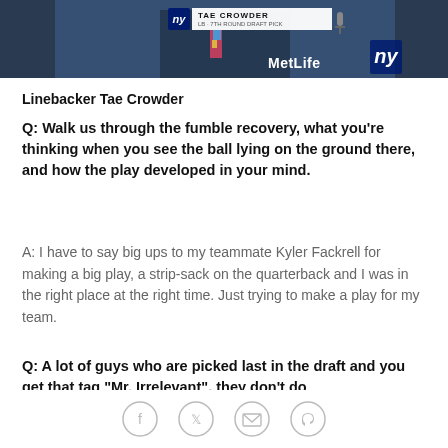[Figure (photo): Photo banner showing Tae Crowder at a press conference with NY Giants branding, microphone, and MetLife Stadium signage in background]
Linebacker Tae Crowder
Q: Walk us through the fumble recovery, what you're thinking when you see the ball lying on the ground there, and how the play developed in your mind.
A: I have to say big ups to my teammate Kyler Fackrell for making a big play, a strip-sack on the quarterback and I was in the right place at the right time. Just trying to make a play for my team.
Q: A lot of guys who are picked last in the draft and you get that tag "Mr. Irrelevant", they don't do
[Figure (infographic): Social sharing bar with Facebook, Twitter, email, and link icons]